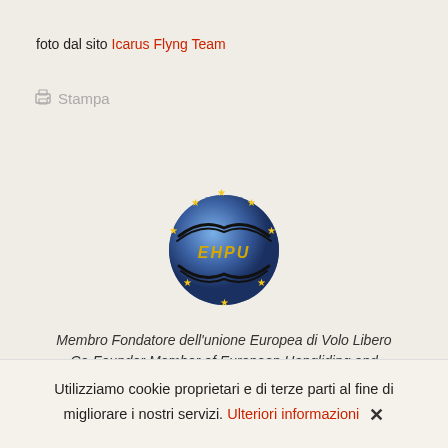foto dal sito Icarus Flyng Team
Stampa
[Figure (logo): EHPU European Hangliding and Paragliding Union logo — a blue globe with yellow stars around the border and stylized bird/wing silhouettes across the center, with golden italic text 'EHPU']
Membro Fondatore dell'unione Europea di Volo Libero
Co-Founder Member of European Hangliding and
Paragliding Union
Utilizziamo cookie proprietari e di terze parti al fine di migliorare i nostri servizi. Ulteriori informazioni ×